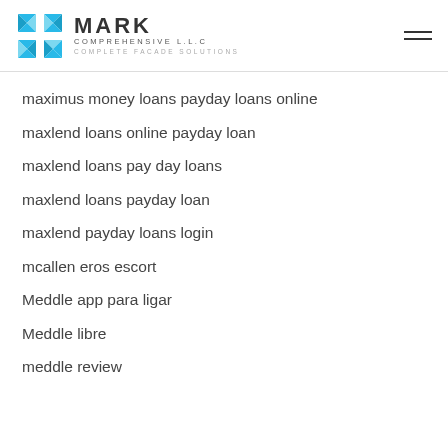MARK COMPREHENSIVE L.L.C — COMPLETE FACADE SOLUTIONS
maximus money loans payday loans online
maxlend loans online payday loan
maxlend loans pay day loans
maxlend loans payday loan
maxlend payday loans login
mcallen eros escort
Meddle app para ligar
Meddle libre
meddle review